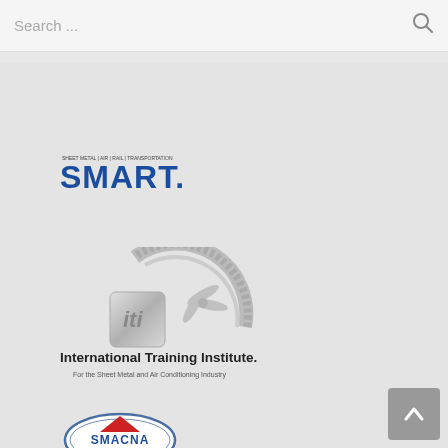[Figure (screenshot): Search bar with placeholder text 'Search ...' and a magnifying glass icon on the right]
[Figure (logo): SMART union logo - Sheet Metal, Air, Rail & Transportation union logo in blue with text above]
[Figure (logo): International Training Institute logo - shows ITI emblem with gear/clock and scissors tools, text reads 'International Training Institute. For the Sheet Metal and Air Conditioning Industry']
[Figure (logo): SMACNA logo - oval shaped logo with red triangle/diamond shape and SMACNA text in blue with decorative border]
[Figure (other): Back to top button - gray rounded square with upward pointing chevron/arrow]